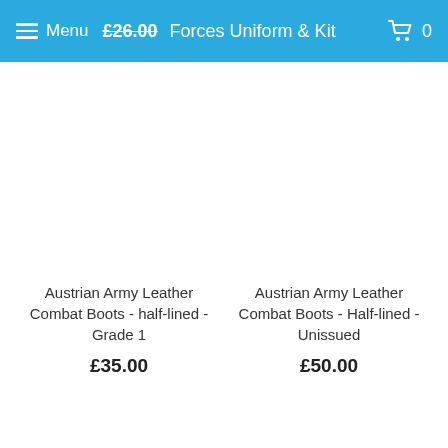Menu £26.00 Forces Uniform & Kit  0
Austrian Army Leather Combat Boots - half-lined - Grade 1
£35.00
Austrian Army Leather Combat Boots - Half-lined - Unissued
£50.00